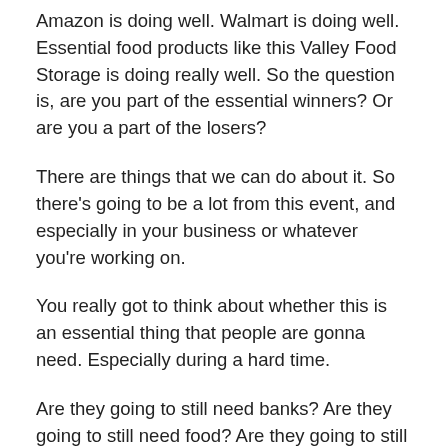Amazon is doing well. Walmart is doing well. Essential food products like this Valley Food Storage is doing really well. So the question is, are you part of the essential winners? Or are you a part of the losers?
There are things that we can do about it. So there's going to be a lot from this event, and especially in your business or whatever you're working on.
You really got to think about whether this is an essential thing that people are gonna need. Especially during a hard time.
Are they going to still need banks? Are they going to still need food? Are they going to still need...